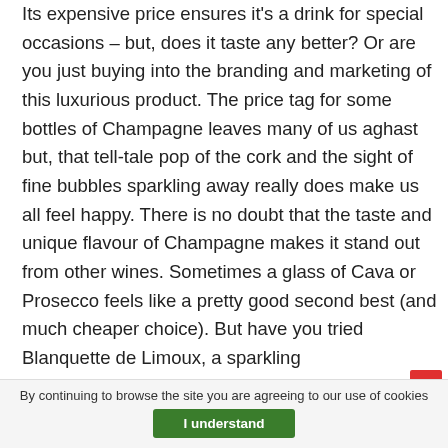Its expensive price ensures it's a drink for special occasions – but, does it taste any better? Or are you just buying into the branding and marketing of this luxurious product. The price tag for some bottles of Champagne leaves many of us aghast but, that tell-tale pop of the cork and the sight of fine bubbles sparkling away really does make us all feel happy. There is no doubt that the taste and unique flavour of Champagne makes it stand out from other wines. Sometimes a glass of Cava or Prosecco feels like a pretty good second best (and much cheaper choice). But have you tried Blanquette de Limoux, a sparkling
By continuing to browse the site you are agreeing to our use of cookies
I understand